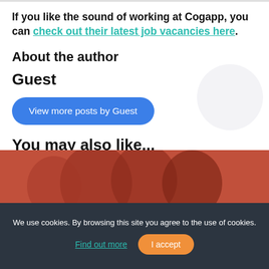If you like the sound of working at Cogapp, you can check out their latest job vacancies here.
About the author
Guest
View more posts by Guest
You may also like...
[Figure (photo): A photo of people with a red/coral background]
We use cookies. By browsing this site you agree to the use of cookies.
Find out more  I accept